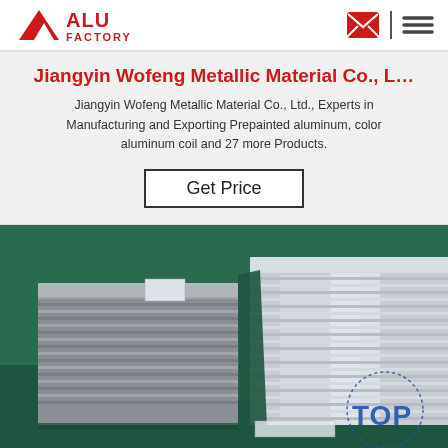ALU FACTORY — navigation header with logo, email icon, and menu icon
Jiangyin Wofeng Metallic Material Co., L…
Jiangyin Wofeng Metallic Material Co., Ltd., Experts in Manufacturing and Exporting Prepainted aluminum, color aluminum coil and 27 more Products.
Get Price
[Figure (photo): Photo of stacked aluminum sheets on a green/dark factory floor, with a 'TOP' watermark overlay in the bottom-right corner]